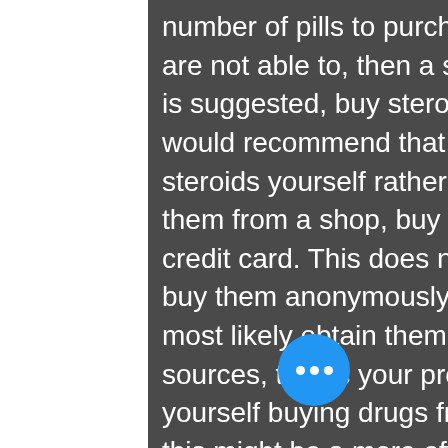number of pills to purchase for you, (if they are not able to, then a substitute pharmacist is suggested, buy steroids australia bitcoin.) I would recommend that you obtain the steroids yourself rather than trying to buy them from a shop, buy steroids australia credit card. This does not mean you cannot buy them anonymously, just that you would most likely obtain them from your own sources, that is your problem. If you do find yourself buying drugs from other sources, this might be a more effective route, for a variety of reasons. For these reasons, if you were looking to buy steroids anonymously (without the aid of someone who is not able to give you the correct number of pills), you would be better off shopping online rather than contacting the dealers who supply them and buying those drugs online, so not having to deal with someone who can't give you the correct numbers of pills to purchase them and then waiting in line for 20 minutes to get